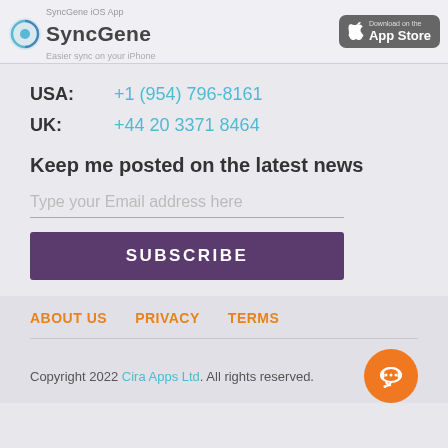SyncGene iOS App - Easier sync on your iPhone
USA: +1 (954) 796-8161
UK: +44 20 3371 8464
Keep me posted on the latest news
Type your Email address here
SUBSCRIBE
ABOUT US    PRIVACY    TERMS
Copyright 2022 Cira Apps Ltd. All rights reserved.